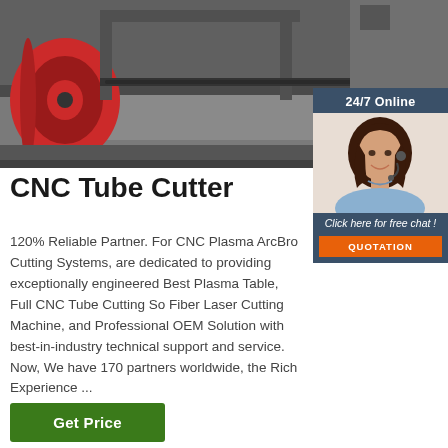[Figure (photo): CNC tube cutting machine in an industrial setting, showing a large red spool/reel on the left and a long metallic cutting rail/bed extending to the right]
[Figure (photo): 24/7 Online chat widget with a smiling woman wearing a headset, a 'Click here for free chat!' prompt, and an orange QUOTATION button]
CNC Tube Cutter
120% Reliable Partner. For CNC Plasma ArcBro Cutting Systems, are dedicated to providing exceptionally engineered Best Plasma Table, Full CNC Tube Cutting So Fiber Laser Cutting Machine, and Professional OEM Solution with best-in-industry technical support and service. Now, We have 170 partners worldwide, the Rich Experience ...
Get Price